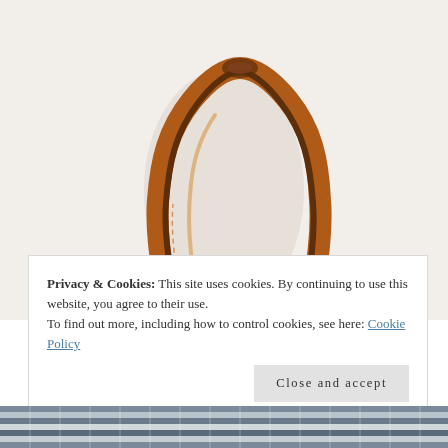[Figure (photo): Close-up photo of a brown leather bag handle/strap looped against a light gray-white background, showing the top arch of the handle with stitching detail.]
Privacy & Cookies: This site uses cookies. By continuing to use this website, you agree to their use.
To find out more, including how to control cookies, see here: Cookie Policy
Close and accept
[Figure (photo): Bottom strip of a woven textile with blue, white, and gray pattern.]